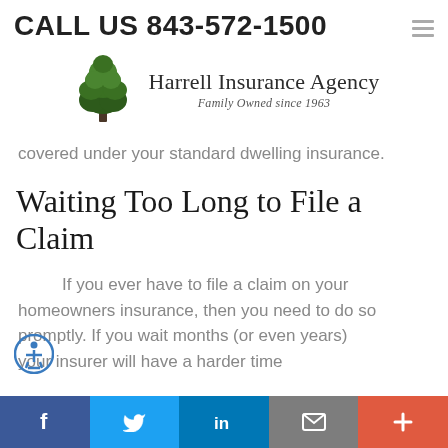CALL US 843-572-1500
[Figure (logo): Harrell Insurance Agency logo with tree illustration]
Harrell Insurance Agency
Family Owned since 1963
covered under your standard dwelling insurance.
Waiting Too Long to File a Claim
If you ever have to file a claim on your homeowners insurance, then you need to do so promptly. If you wait months (or even years) your insurer will have a harder time